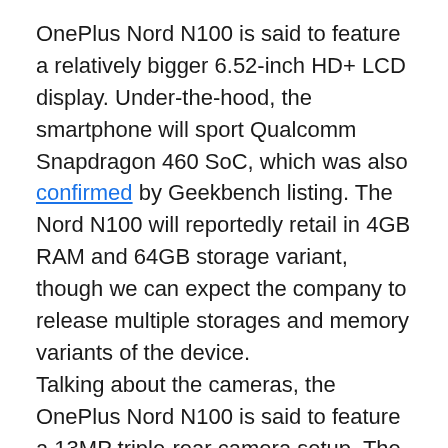OnePlus Nord N100 is said to feature a relatively bigger 6.52-inch HD+ LCD display. Under-the-hood, the smartphone will sport Qualcomm Snapdragon 460 SoC, which was also confirmed by Geekbench listing. The Nord N100 will reportedly retail in 4GB RAM and 64GB storage variant, though we can expect the company to release multiple storages and memory variants of the device.
Talking about the cameras, the OnePlus Nord N100 is said to feature a 13MP triple-rear camera setup. The primary 13MP shooter on the smartphone will reportedly get coupled with a 2MP macro, and a 2MP Bokeh lens. The Nord N100 is said to pack an 8MP front shooter for selfies. Coming to the battery, the smartphone will pack 5,000mAh battery as per the